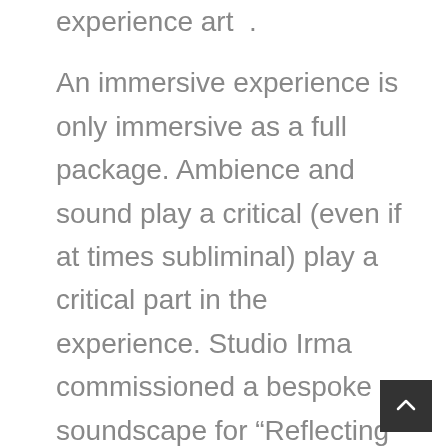experience art .
An immersive experience is only immersive as a full package. Ambience and sound play a critical (even if at times subliminal) play a critical part in the experience. Studio Irma commissioned a bespoke soundscape for “Reflecting forward”, which takes the experience to the whole new level of dreamy-ness. The music is really quite hypnotic. The artist stated her intention to release it on Spotify, but as of the time of writing, it is not there